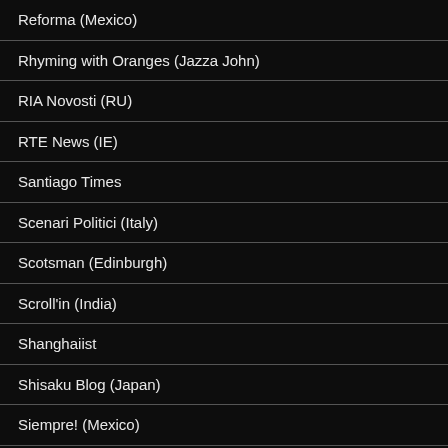Reforma (Mexico)
Rhyming with Oranges (Jazza John)
RIA Novosti (RU)
RTE News (IE)
Santiago Times
Scenari Politici (Italy)
Scotsman (Edinburgh)
Scroll'in (India)
Shanghaiist
Shisaku Blog (Japan)
Siempre! (Mexico)
Smoke & Stir (Taylor Marvin)